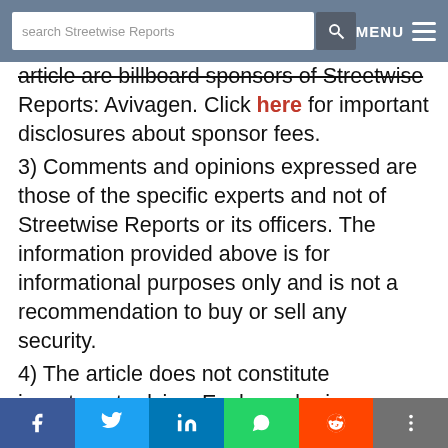search Streetwise Reports | MENU
article are billboard sponsors of Streetwise Reports: Avivagen. Click here for important disclosures about sponsor fees.
3) Comments and opinions expressed are those of the specific experts and not of Streetwise Reports or its officers. The information provided above is for informational purposes only and is not a recommendation to buy or sell any security.
4) The article does not constitute investment advice. Each reader is encouraged to consult with his or her individual financial professional and any action a reader takes as a result of information presented here is his
f | Twitter | in | WhatsApp | Reddit | +